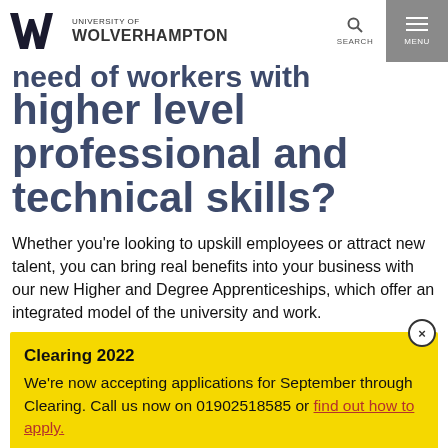University of Wolverhampton
need of workers with higher level professional and technical skills?
Whether you’re looking to upskill employees or attract new talent, you can bring real benefits into your business with our new Higher and Degree Apprenticeships, which offer an integrated model of the university and work.
Clearing 2022
We’re now accepting applications for September through Clearing. Call us now on 01902518585 or find out how to apply.